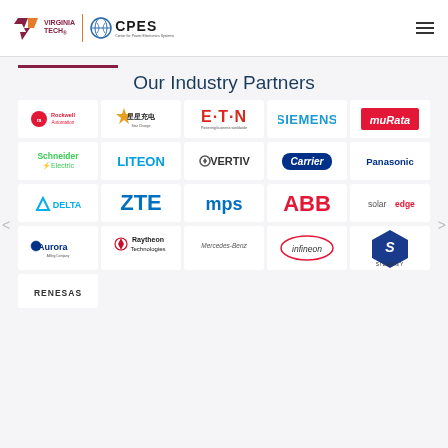[Figure (logo): Virginia Tech and CPES (Center for Power Electronics Systems) header logos]
Our Industry Partners
[Figure (infographic): Grid of industry partner logos: Rockwell Automation, Star Charge, Eaton, Siemens, Murata, Schneider Electric, LITEON, Vertiv, Carrier, Panasonic, Delta, ZTE, MPS, ABB, SolarEdge, Aurora, Raytheon Technologies, Mercedes-Benz, Infineon, Silergy, Renesas]